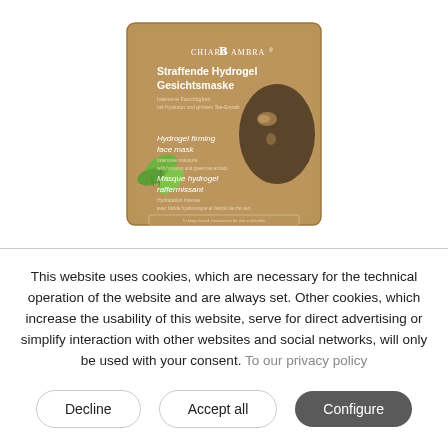[Figure (photo): Product packaging for Chiara Ambra Straffende Hydrogel Gesichtsmaske (Hydrogel Firming Face Mask), shown as a square tan/brown foil packet with green leaf decoration and a face mask illustration on a white background.]
This website uses cookies, which are necessary for the technical operation of the website and are always set. Other cookies, which increase the usability of this website, serve for direct advertising or simplify interaction with other websites and social networks, will only be used with your consent. To our privacy policy
Decline
Accept all
Configure